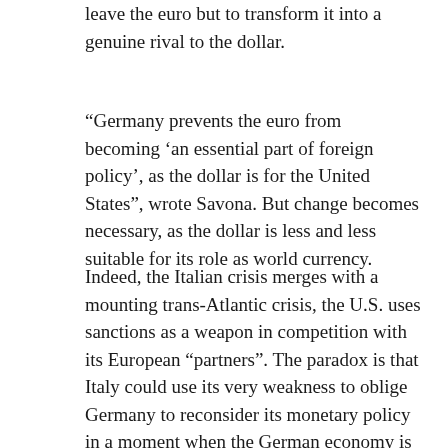leave the euro but to transform it into a genuine rival to the dollar.
“Germany prevents the euro from becoming ‘an essential part of foreign policy’, as the dollar is for the United States”, wrote Savona. But change becomes necessary, as the dollar is less and less suitable for its role as world currency.
Indeed, the Italian crisis merges with a mounting trans-Atlantic crisis, the U.S. uses sanctions as a weapon in competition with its European “partners”. The paradox is that Italy could use its very weakness to oblige Germany to reconsider its monetary policy in a moment when the German economy is also facing problems due to U.S. sanctions on deals with Russia and Iran, as well as protectionist measures. Savona’s message was that clever diplomacy could work to Italy’s advantage. In its own interest, Germany may need to accept transformation of the